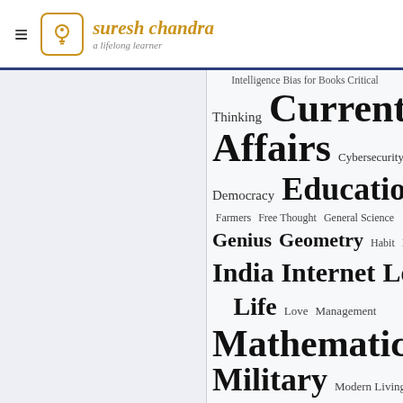suresh chandra — a lifelong learner
[Figure (infographic): Tag cloud showing blog categories in varying font sizes representing frequency: Intelligence, Bias for Books, Critical Thinking, Current Affairs, Cybersecurity, Democracy, Education, Farmers, Free Thought, General Science, Genius, Geometry, Habit, History, India, Internet, Learning, Life, Love, Management, Mathematics, Meaning, Military, Modern Living, Numbers, Philosophy, Poetry, Politics, Privacy, Psychology, Psychotherapy]